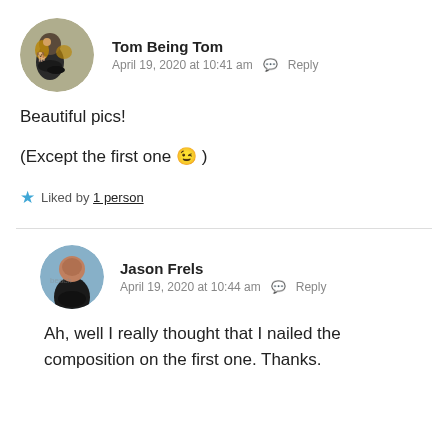[Figure (photo): Circular avatar photo of Tom Being Tom with a dog]
Tom Being Tom
April 19, 2020 at 10:41 am  Reply
Beautiful pics!

(Except the first one 😉 )
★ Liked by 1 person
[Figure (photo): Circular avatar photo of Jason Frels at a beach]
Jason Frels
April 19, 2020 at 10:44 am  Reply
Ah, well I really thought that I nailed the composition on the first one. Thanks.